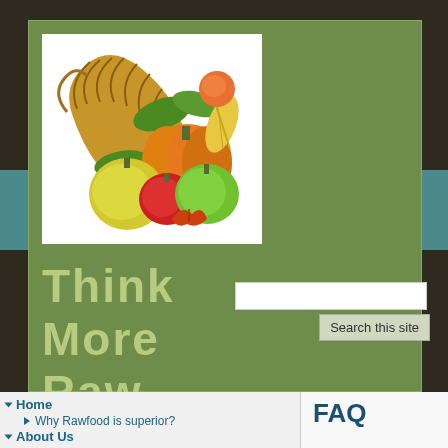[Figure (illustration): Cornucopia / harvest horn of plenty with fruits, vegetables including pumpkin, apples, corn, and autumn leaves on white background]
Think More Raw
Search this site
Home
Why Rawfood is superior?
About Us
Courses/Classes
FAQ